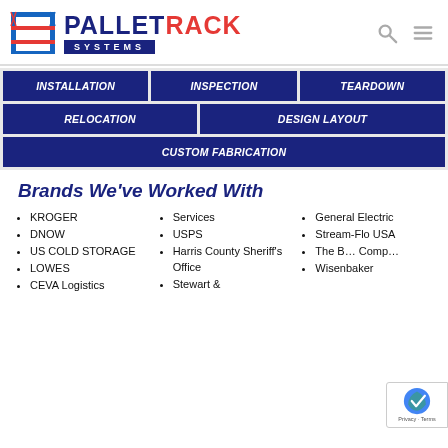[Figure (logo): PalletRack Systems logo with rack icon, blue PALLET text, red RACK text, and blue SYSTEMS banner]
INSTALLATION
INSPECTION
TEARDOWN
RELOCATION
DESIGN LAYOUT
CUSTOM FABRICATION
Brands We've Worked With
KROGER
DNOW
US COLD STORAGE
LOWES
CEVA Logistics
Services
USPS
Harris County Sheriff's Office
Stewart &
General Electric
Stream-Flo USA
The B… Comp…
Wisenbaker